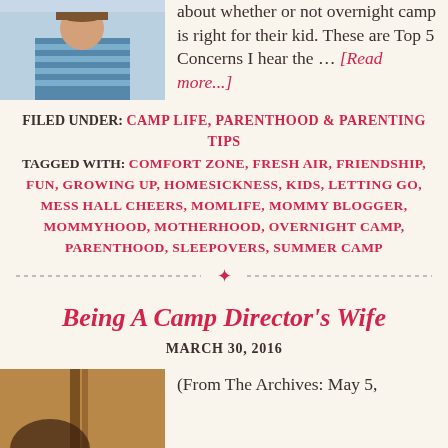[Figure (photo): Photo of a child in a striped shirt, partially visible at top left]
about whether or not overnight camp is right for their kid. These are Top 5 Concerns I hear the ... [Read more...]
FILED UNDER: CAMP LIFE, PARENTHOOD & PARENTING TIPS
TAGGED WITH: COMFORT ZONE, FRESH AIR, FRIENDSHIP, FUN, GROWING UP, HOMESICKNESS, KIDS, LETTING GO, MESS HALL CHEERS, MOMLIFE, MOMMY BLOGGER, MOMMYHOOD, MOTHERHOOD, OVERNIGHT CAMP, PARENTHOOD, SLEEPOVERS, SUMMER CAMP
Being A Camp Director's Wife
MARCH 30, 2016
[Figure (photo): Photo at bottom left, brown tones, partial figure visible]
(From The Archives: May 5,